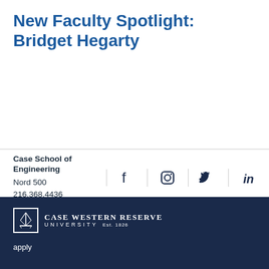New Faculty Spotlight: Bridget Hegarty
Case School of Engineering
Nord 500
216.368.4436
[Figure (infographic): Social media icons: Facebook, Instagram, Twitter, LinkedIn arranged in a row with dividers]
©Case Western Reserve University, Cleveland, Ohio 44106, 216.368.2000
[Figure (logo): Case Western Reserve University logo with torch emblem and EST. 1826]
apply